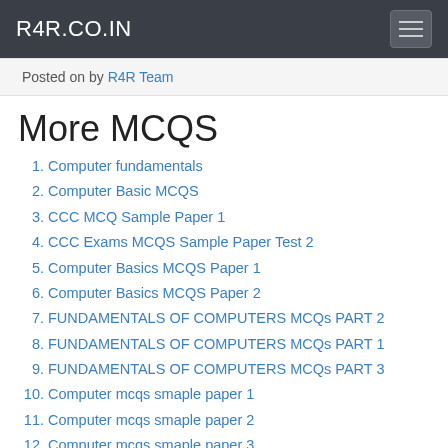R4R.CO.IN
Posted on by R4R Team
More MCQS
Computer fundamentals
Computer Basic MCQS
CCC MCQ Sample Paper 1
CCC Exams MCQS Sample Paper Test 2
Computer Basics MCQS Paper 1
Computer Basics MCQS Paper 2
FUNDAMENTALS OF COMPUTERS MCQs PART 2
FUNDAMENTALS OF COMPUTERS MCQs PART 1
FUNDAMENTALS OF COMPUTERS MCQs PART 3
Computer mcqs smaple paper 1
Computer mcqs smaple paper 2
Computer mcqs smaple paper 3